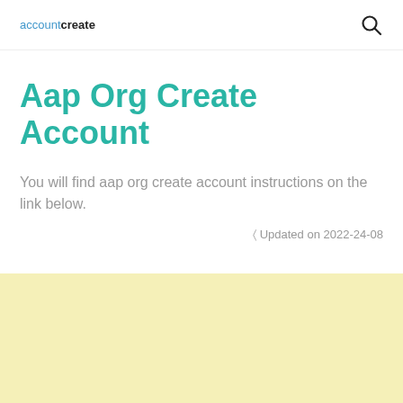accountcreate
Aap Org Create Account
You will find aap org create account instructions on the link below.
Updated on 2022-24-08